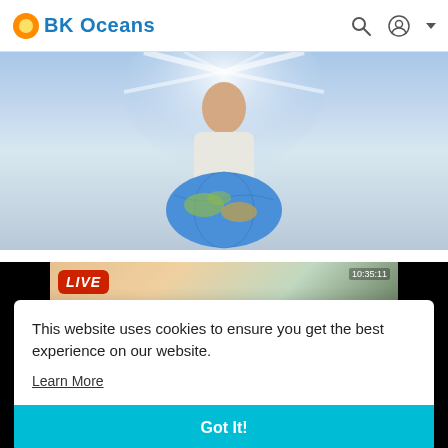BK Oceans
[Figure (photo): Hero image showing a person holding or standing behind a globe/Earth, with light rays radiating outward, against a blue sky background]
[Figure (screenshot): Video thumbnail showing a LIVE badge in red, a landscape with trees and sky, timestamp 10:35:11, a snowflake/asterisk icon, and partial text at the bottom]
This website uses cookies to ensure you get the best experience on our website.
Learn More
Got It!